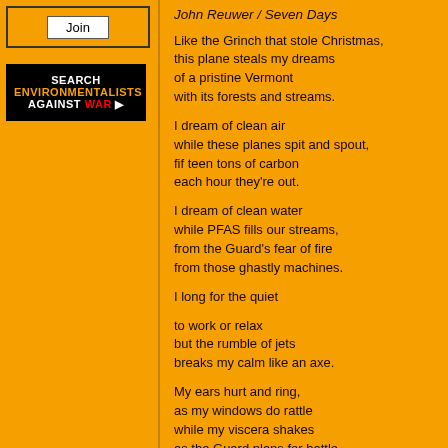[Figure (other): Join button inside a bordered box on orange background]
[Figure (other): Black box with 'SEARCH ENVIRONMENTALISTS AGAINST WAR ▶' text in white, orange, and red]
John Reuwer / Seven Days
Like the Grinch that stole Christmas,
this plane steals my dreams
of a pristine Vermont
with its forests and streams.

I dream of clean air
while these planes spit and spout,
fif teen tons of carbon
each hour they're out.

I dream of clean water
while PFAS fills our streams,
from the Guard's fear of fire
from those ghastly machines.

I long for the quiet

to work or relax
but the rumble of jets
breaks my calm like an axe.

My ears hurt and ring,
as my windows do rattle
while my viscera shakes
as the Guard plans for battle.

New Americans in town
are shocked by the blast.
like war in their homelands
they thought was long past